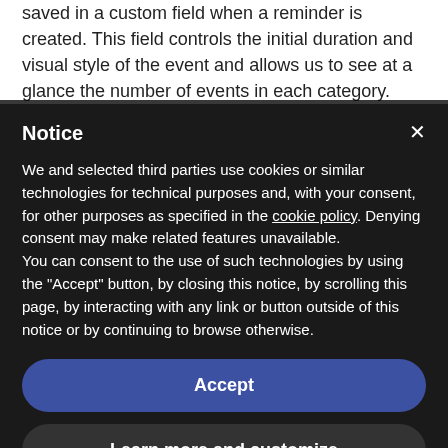saved in a custom field when a reminder is created. This field controls the initial duration and visual style of the event and allows us to see at a glance the number of events in each category.
We didn't need durations to be exact, but we estimated that
Notice
We and selected third parties use cookies or similar technologies for technical purposes and, with your consent, for other purposes as specified in the cookie policy. Denying consent may make related features unavailable.
You can consent to the use of such technologies by using the "Accept" button, by closing this notice, by scrolling this page, by interacting with any link or button outside of this notice or by continuing to browse otherwise.